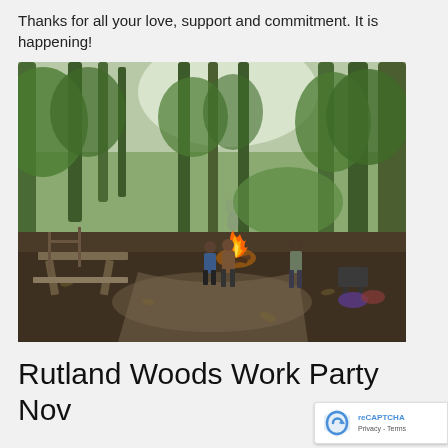Thanks for all your love, support and commitment. It is happening!
[Figure (photo): Outdoor woodland scene showing people gathered around a bonfire/campfire in a wooded clearing. A picnic table is visible on the left, trees surround the area, and several people stand near the flames. The ground is covered with leaves and a gravel path is visible.]
Rutland Woods Work Party Nov